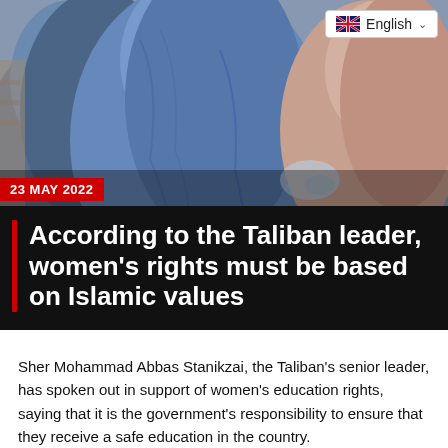[Figure (photo): Women wearing blue burqas photographed from behind/side, close-up.]
English
23 MAY 2022
According to the Taliban leader, women's rights must be based on Islamic values
Sher Mohammad Abbas Stanikzai, the Taliban's senior leader, has spoken out in support of women's education rights, saying that it is the government's responsibility to ensure that they receive a safe education in the country.
Stanikzai said that women should be given their rights